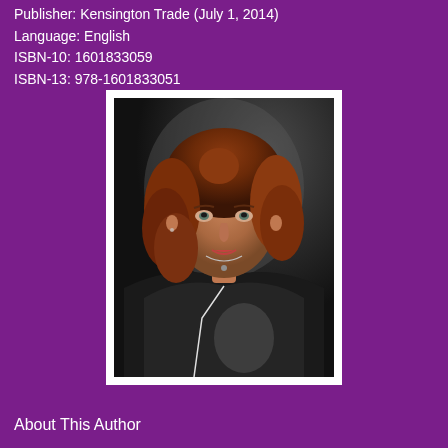Publisher: Kensington Trade (July 1, 2014)
Language: English
ISBN-10: 1601833059
ISBN-13: 978-1601833051
[Figure (photo): Professional headshot of a woman with curly auburn/reddish-brown hair, wearing a black blazer with white trim and a black floral top, with a necklace, posing against a dark background.]
About This Author